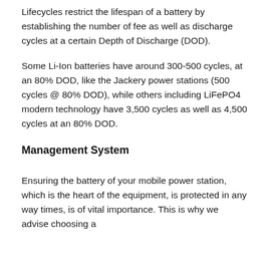Lifecycles restrict the lifespan of a battery by establishing the number of fee as well as discharge cycles at a certain Depth of Discharge (DOD).
Some Li-Ion batteries have around 300-500 cycles, at an 80% DOD, like the Jackery power stations (500 cycles @ 80% DOD), while others including LiFePO4 modern technology have 3,500 cycles as well as 4,500 cycles at an 80% DOD.
Management System
Ensuring the battery of your mobile power station, which is the heart of the equipment, is protected in any way times, is of vital importance. This is why we advise choosing a